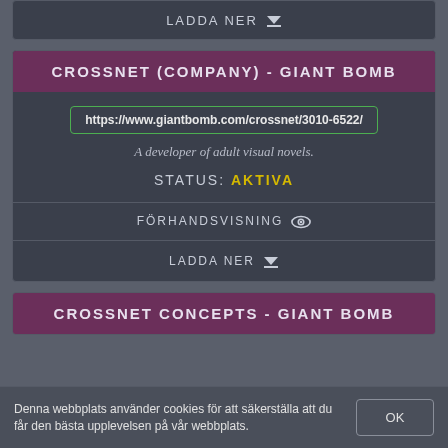LADDA NER
CROSSNET (COMPANY) - GIANT BOMB
https://www.giantbomb.com/crossnet/3010-6522/
A developer of adult visual novels.
STATUS: AKTIVA
FÖRHANDSVISNING
LADDA NER
CROSSNET CONCEPTS - GIANT BOMB
Denna webbplats använder cookies för att säkerställa att du får den bästa upplevelsen på vår webbplats.